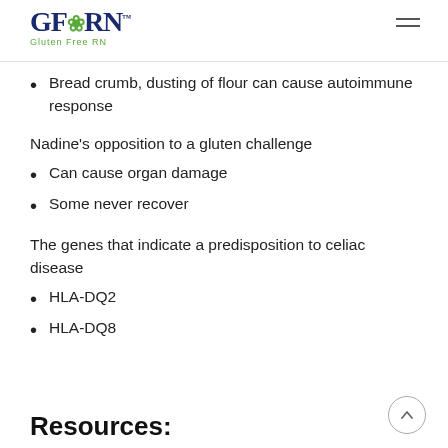GFRN Gluten Free RN
Bread crumb, dusting of flour can cause autoimmune response
Nadine's opposition to a gluten challenge
Can cause organ damage
Some never recover
The genes that indicate a predisposition to celiac disease
HLA-DQ2
HLA-DQ8
Resources: